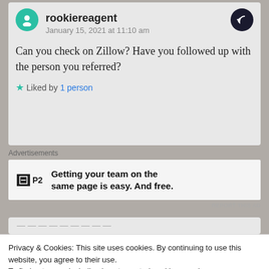rookiereagent
January 15, 2021 at 11:10 am
Can you check on Zillow? Have you followed up with the person you referred?
Liked by 1 person
Advertisements
[Figure (other): P2 advertisement: Getting your team on the same page is easy. And free.]
REPORT THIS AD
Privacy & Cookies: This site uses cookies. By continuing to use this website, you agree to their use.
To find out more, including how to control cookies, see here: Cookie Policy
Close and accept